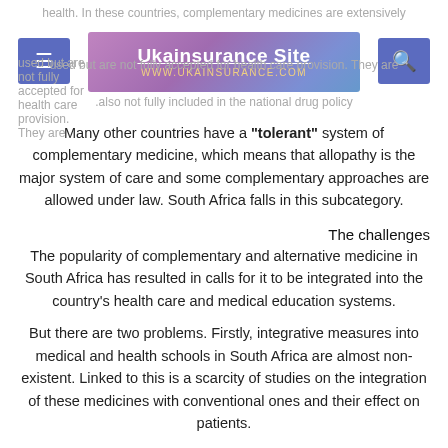health. In these countries, complementary medicines are extensively used but are not fully accepted for health care provision. They are also not fully included in the national drug policy
[Figure (logo): Ukainsurance Site logo with URL www.ukainsurance.com on purple/blue gradient background, flanked by blue navigation menu and search buttons]
Many other countries have a "tolerant" system of complementary medicine, which means that allopathy is the major system of care and some complementary approaches are allowed under law. South Africa falls in this subcategory.
The challenges
The popularity of complementary and alternative medicine in South Africa has resulted in calls for it to be integrated into the country's health care and medical education systems.
But there are two problems. Firstly, integrative measures into medical and health schools in South Africa are almost non-existent. Linked to this is a scarcity of studies on the integration of these medicines with conventional ones and their effect on patients.